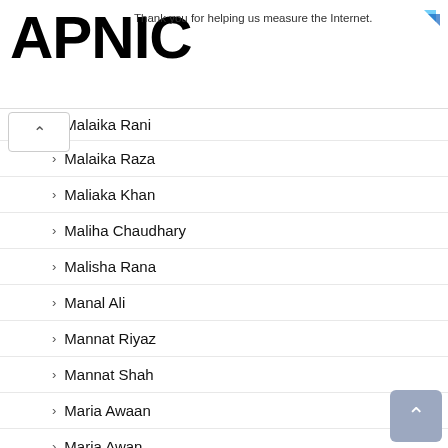APNIC — Thank you for helping us measure the Internet.
Malaika Rani
Malaika Raza
Maliaka Khan
Maliha Chaudhary
Malisha Rana
Manal Ali
Mannat Riyaz
Mannat Shah
Maria Awaan
Maria Awan
Maria Jameel
Maria Jamil
Maria Saed